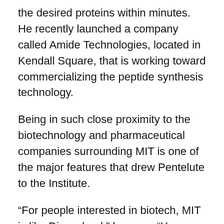the desired proteins within minutes. He recently launched a company called Amide Technologies, located in Kendall Square, that is working toward commercializing the peptide synthesis technology.
Being in such close proximity to the biotechnology and pharmaceutical companies surrounding MIT is one of the major features that drew Pentelute to the Institute.
“For people interested in biotech, MIT is like Disneyland,” he says. “You can walk across the street and talk to the world leaders in the development of antibody-based therapeutics, or you can go down the street and talk to other people that are really excited about delivery of oligonucleotides into cells, and other kinds of therapeutics.”